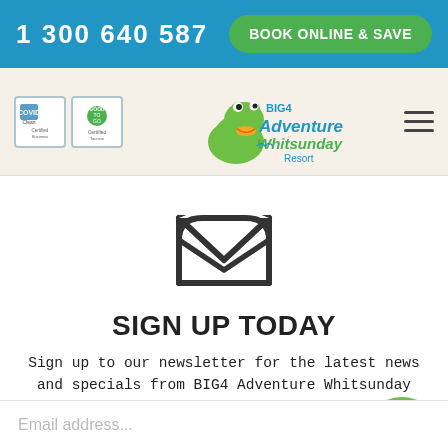1 300 640 587  BOOK ONLINE & SAVE
[Figure (logo): BIG4 Adventure Whitsunday Resort logo with frog mascot, COVID Clean and Good to Go badges, and hamburger menu]
[Figure (illustration): Open envelope / email icon, dark gray outline]
SIGN UP TODAY
Sign up to our newsletter for the latest news and specials from BIG4 Adventure Whitsunday Resort.
[Figure (illustration): BIG4 Adventure Whitsunday frog mascot character in bottom-right corner]
Email address...